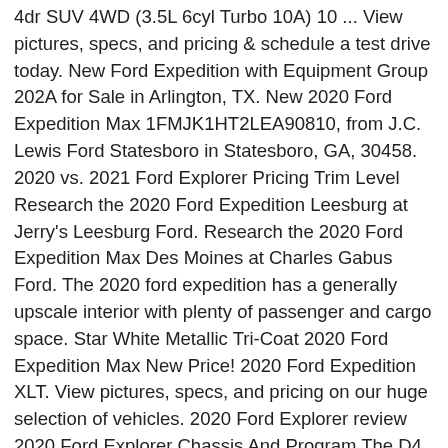4dr SUV 4WD (3.5L 6cyl Turbo 10A) 10 ... View pictures, specs, and pricing & schedule a test drive today. New Ford Expedition with Equipment Group 202A for Sale in Arlington, TX. New 2020 Ford Expedition Max 1FMJK1HT2LEA90810, from J.C. Lewis Ford Statesboro in Statesboro, GA, 30458. 2020 vs. 2021 Ford Explorer Pricing Trim Level Research the 2020 Ford Expedition Leesburg at Jerry's Leesburg Ford. Research the 2020 Ford Expedition Max Des Moines at Charles Gabus Ford. The 2020 ford expedition has a generally upscale interior with plenty of passenger and cargo space. Star White Metallic Tri-Coat 2020 Ford Expedition Max New Price! 2020 Ford Expedition XLT. View pictures, specs, and pricing on our huge selection of vehicles. 2020 Ford Explorer review 2020 Ford Explorer Chassis And Program The D4 system which has been there given that ... Research the 2020 Ford Expedition XLT in Tuscaloosa, AL at Tuscaloosa Ford. Call (703) 659-4245 for more information. 1FMJU1HT3LEA04978. Research the 2020 Ford Expedition Max XLT 202A in La Place, LA at Bayou Ford. Here are pictures, specs, and pricing for the 2020 Ford Expedition Max